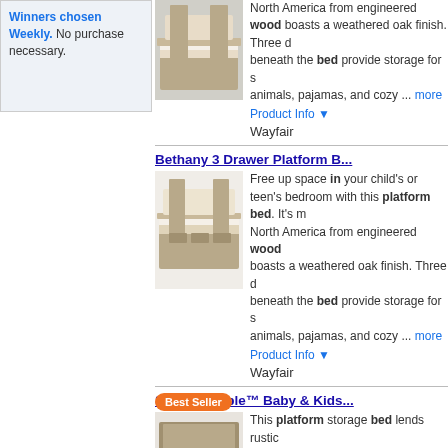Winners chosen Weekly. No purchase necessary.
North America from engineered wood boasts a weathered oak finish. Three drawers beneath the bed provide storage for stuffed animals, pajamas, and cozy ... more
Product Info ▼
Wayfair
Bethany 3 Drawer Platform B...
Free up space in your child's or teen's bedroom with this platform bed. It's m... North America from engineered wood boasts a weathered oak finish. Three drawers beneath the bed provide storage for stuffed animals, pajamas, and cozy ... more
Product Info ▼
Wayfair
[Figure (photo): Platform bed with weathered oak finish, storage drawers]
Sand & Stable™ Baby & Kids...
This platform storage bed lends rustic... from engineered wood, it features a tw... finish that makes it just right for coasta...
Product Info ▼
[Figure (photo): Platform storage bed with headboard, rustic finish]
Sand & Stable™ Baby & Kids...
This classic twin loft bed with a bookca... for lounging, studying, and playing. It's... and a lower area with a desk, shelves,...
Product Info ▼
[Figure (photo): Twin loft bed with bookcase, desk and shelves in dark navy finish]